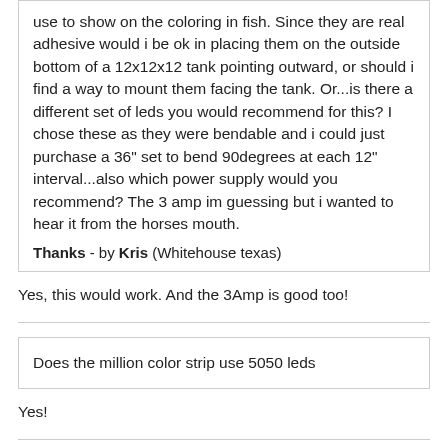use to show on the coloring in fish. Since they are real adhesive would i be ok in placing them on the outside bottom of a 12x12x12 tank pointing outward, or should i find a way to mount them facing the tank. Or...is there a different set of leds you would recommend for this? I chose these as they were bendable and i could just purchase a 36" set to bend 90degrees at each 12" interval...also which power supply would you recommend? The 3 amp im guessing but i wanted to hear it from the horses mouth.
Thanks - by Kris (Whitehouse texas)
Yes, this would work. And the 3Amp is good too!
Does the million color strip use 5050 leds
Yes!